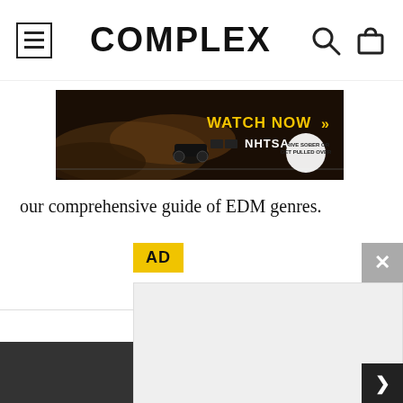COMPLEX
[Figure (photo): NHTSA advertisement banner: dark background with car and smoke, text 'WATCH NOW' with double chevron arrows and 'DRIVE SOBER OR GET PULLED OVER' badge, NHTSA logo]
our comprehensive guide of EDM genres.
AD
[Figure (screenshot): AD overlay with yellow AD label top-left, gray X close button top-right, large gray empty content box in center, yellow bottom bar, dark next arrow button bottom-right]